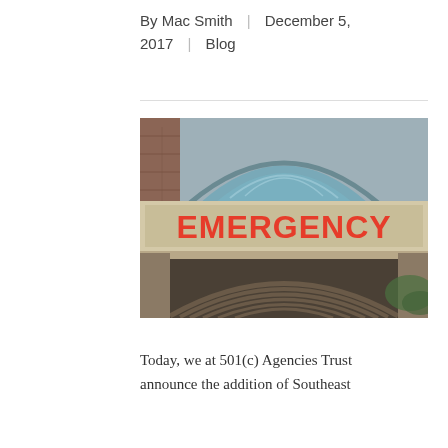By Mac Smith | December 5, 2017 | Blog
[Figure (photo): Hospital Emergency entrance sign — large red letters spelling EMERGENCY on the facade of a hospital building with a curved glass canopy above and an arched metal-ribbed awning below, brick wall visible on the left, cloudy sky in background.]
Today, we at 501(c) Agencies Trust announce the addition of Southeast